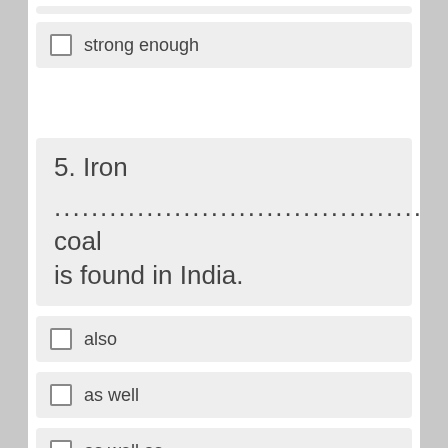strong enough
5. Iron ............................................. coal is found in India.
also
as well
as well as